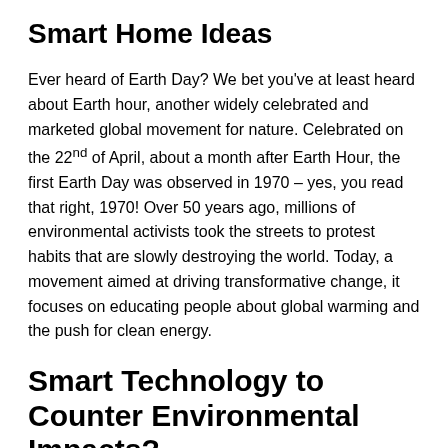Smart Home Ideas
Ever heard of Earth Day? We bet you've at least heard about Earth hour, another widely celebrated and marketed global movement for nature. Celebrated on the 22nd of April, about a month after Earth Hour, the first Earth Day was observed in 1970 – yes, you read that right, 1970! Over 50 years ago, millions of environmental activists took the streets to protest habits that are slowly destroying the world. Today, a movement aimed at driving transformative change, it focuses on educating people about global warming and the push for clean energy.
Smart Technology to Counter Environmental Impacts?
Although we might not reach Elon Musk's status as the poster child of low-carbon technology, we can jump on the green energy